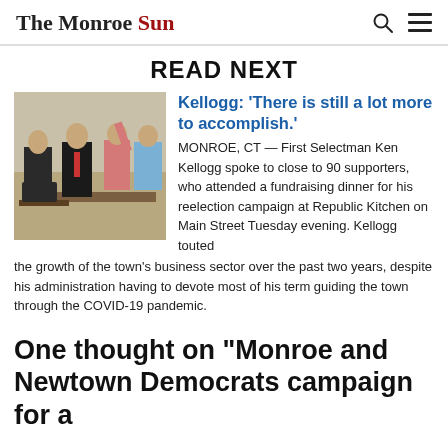The Monroe Sun
READ NEXT
[Figure (photo): Photo of people at an indoor event, men in suits standing around a table]
Kellogg: ‘There is still a lot more to accomplish.’
MONROE, CT — First Selectman Ken Kellogg spoke to close to 90 supporters, who attended a fundraising dinner for his reelection campaign at Republic Kitchen on Main Street Tuesday evening. Kellogg touted the growth of the town’s business sector over the past two years, despite his administration having to devote most of his term guiding the town through the COVID-19 pandemic.
One thought on “Monroe and Newtown Democrats campaign for a